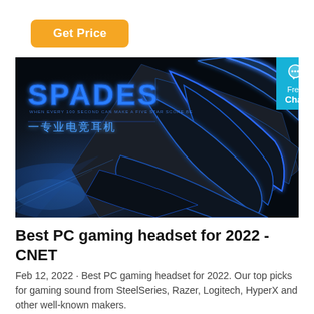Get Price
[Figure (screenshot): SPADES gaming headset promotional banner with dark background, blue neon-outlined dragon/blade shapes, 'SPADES' logo in blue at top left, and Chinese text '专业电竞耳机' below. A 'Free Chat' badge in cyan blue appears on the right edge.]
Best PC gaming headset for 2022 - CNET
Feb 12, 2022 · Best PC gaming headset for 2022. Our top picks for gaming sound from SteelSeries, Razer, Logitech, HyperX and other well-known makers.